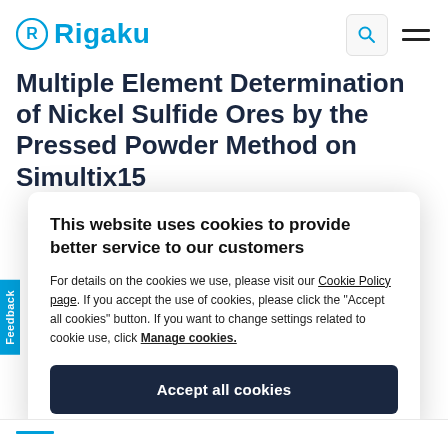Rigaku
Multiple Element Determination of Nickel Sulfide Ores by the Pressed Powder Method on Simultix15
This website uses cookies to provide better service to our customers
For details on the cookies we use, please visit our Cookie Policy page. If you accept the use of cookies, please click the "Accept all cookies" button. If you want to change settings related to cookie use, click Manage cookies.
Accept all cookies